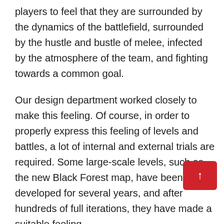players to feel that they are surrounded by the dynamics of the battlefield, surrounded by the hustle and bustle of melee, infected by the atmosphere of the team, and fighting towards a common goal.
Our design department worked closely to make this feeling. Of course, in order to properly express this feeling of levels and battles, a lot of internal and external trials are required. Some large-scale levels, such as the new Black Forest map, have been developed for several years, and after hundreds of full iterations, they have made a suitable feeling.
Our team often builds team goal levels around major events in the Middle Ages (using examples from h or film and television dramas). Later they will adap e concepts as the main goal, but sometimes only as a